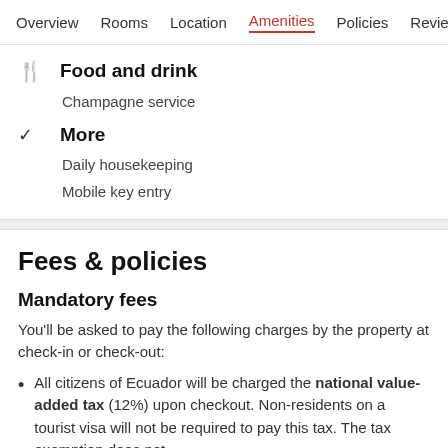Overview  Rooms  Location  Amenities  Policies  Reviews
Food and drink
Champagne service
More
Daily housekeeping
Mobile key entry
Fees & policies
Mandatory fees
You'll be asked to pay the following charges by the property at check-in or check-out:
All citizens of Ecuador will be charged the national value-added tax (12%) upon checkout. Non-residents on a tourist visa will not be required to pay this tax. The tax exemption does not